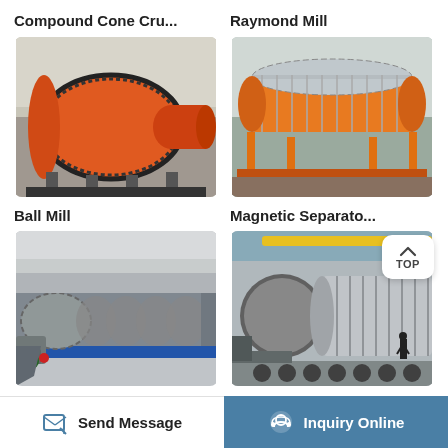Compound Cone Cru...
Raymond Mill
[Figure (photo): Orange ball mill industrial machine in a factory setting]
[Figure (photo): Orange magnetic separator machine with rotating drum in industrial facility]
Ball Mill
Magnetic Separato...
[Figure (photo): Spiral classifier / ball mill equipment in grey/blue industrial setting]
[Figure (photo): Large cylindrical magnetic separator on a transport vehicle with worker standing beside]
Send Message
Inquiry Online